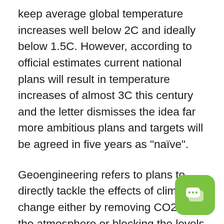keep average global temperature increases well below 2C and ideally below 1.5C. However, according to official estimates current national plans will result in temperature increases of almost 3C this century and the letter dismisses the idea far more ambitious plans and targets will be agreed in five years as "naïve".
Geoengineering refers to plans to directly tackle the effects of climate change either by removing CO2 from the atmosphere or blocking the levels of sunlight reaching the earth's surface. Potential geoengineering strategies outlined by scientists include restoration of rainforests to absorb more